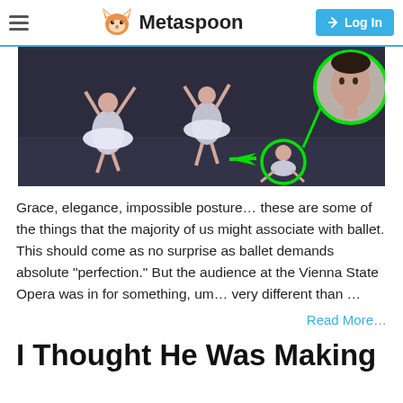Metaspoon | Log In
[Figure (photo): Ballet dancers performing on stage in white tutus. A green arrow points to one dancer seated on the floor, with a green-circled close-up inset of her face in the top-right corner.]
Grace, elegance, impossible posture… these are some of the things that the majority of us might associate with ballet. This should come as no surprise as ballet demands absolute “perfection.” But the audience at the Vienna State Opera was in for something, um… very different than …
Read More…
I Thought He Was Making